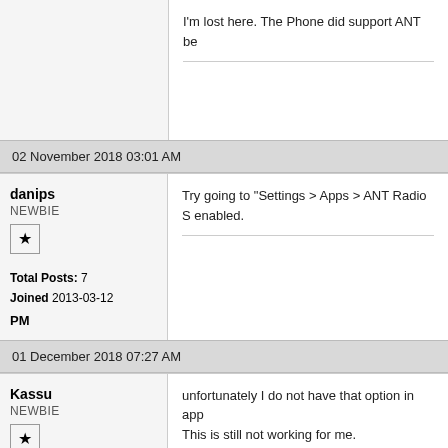I'm lost here. The Phone did support ANT be
02 November 2018 03:01 AM
danips
NEWBIE
Total Posts: 7
Joined 2013-03-12
PM
Try going to "Settings > Apps > ANT Radio S enabled.
01 December 2018 07:27 AM
Kassu
NEWBIE
unfortunately I do not have that option in app
This is still not working for me.
I have heard of other users who have the sar